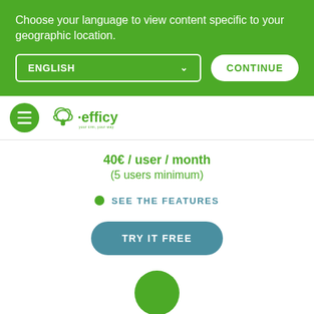Choose your language to view content specific to your geographic location.
ENGLISH  ▾
CONTINUE
[Figure (logo): Efficy CRM logo with hamburger menu icon]
40€ / user / month
(5 users minimum)
SEE THE FEATURES
TRY IT FREE
[Figure (illustration): Green circle at bottom of page]